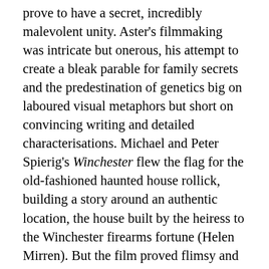prove to have a secret, incredibly malevolent unity. Aster's filmmaking was intricate but onerous, his attempt to create a bleak parable for family secrets and the predestination of genetics big on laboured visual metaphors but short on convincing writing and detailed characterisations. Michael and Peter Spierig's Winchester flew the flag for the old-fashioned haunted house rollick, building a story around an authentic location, the house built by the heiress to the Winchester firearms fortune (Helen Mirren). But the film proved flimsy and absurd on just about every conceivable level, failing to do any justice to its fascinating basis.